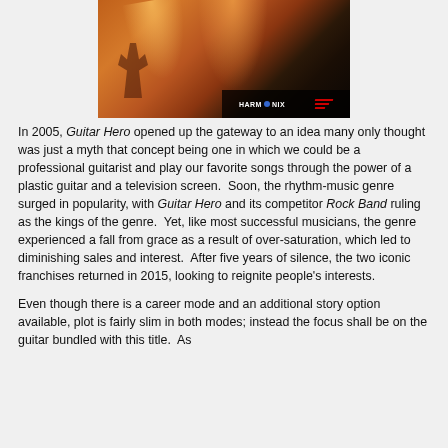[Figure (photo): Concert photo of musicians performing on stage with dramatic orange/red stage lighting. Harmonix and Mad Catz logos visible in lower right corner.]
In 2005, Guitar Hero opened up the gateway to an idea many only thought was just a myth that concept being one in which we could be a professional guitarist and play our favorite songs through the power of a plastic guitar and a television screen.  Soon, the rhythm-music genre surged in popularity, with Guitar Hero and its competitor Rock Band ruling as the kings of the genre.  Yet, like most successful musicians, the genre experienced a fall from grace as a result of over-saturation, which led to diminishing sales and interest.  After five years of silence, the two iconic franchises returned in 2015, looking to reignite people's interests.
Even though there is a career mode and an additional story option available, plot is fairly slim in both modes; instead the focus shall be on the guitar bundled with this title.  As